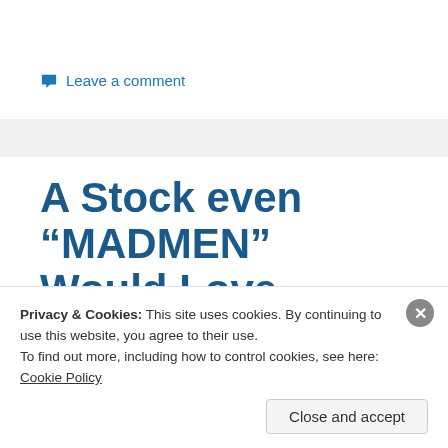Leave a comment
A Stock even “MADMEN” Would Love.
November 30, 2016   Analysis, Commentary
Privacy & Cookies: This site uses cookies. By continuing to use this website, you agree to their use.
To find out more, including how to control cookies, see here: Cookie Policy
Close and accept